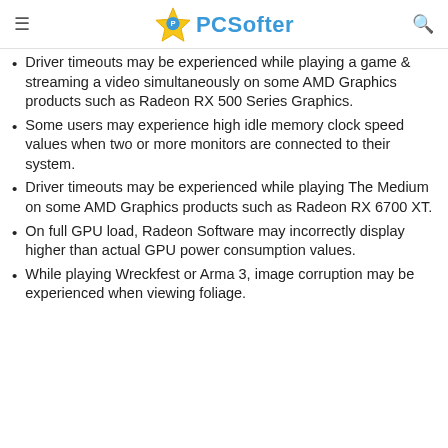PCSofter
Driver timeouts may be experienced while playing a game & streaming a video simultaneously on some AMD Graphics products such as Radeon RX 500 Series Graphics.
Some users may experience high idle memory clock speed values when two or more monitors are connected to their system.
Driver timeouts may be experienced while playing The Medium on some AMD Graphics products such as Radeon RX 6700 XT.
On full GPU load, Radeon Software may incorrectly display higher than actual GPU power consumption values.
While playing Wreckfest or Arma 3, image corruption may be experienced when viewing foliage.